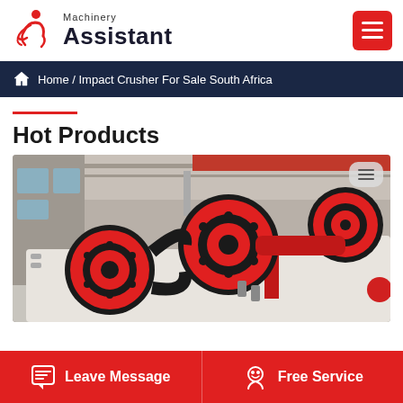[Figure (logo): Machinery Assistant logo with red figure icon and bold text]
Home / Impact Crusher For Sale South Africa
Hot Products
[Figure (photo): Industrial jaw crusher machinery with large red and black flywheels in a factory setting]
Leave Message   Free Service